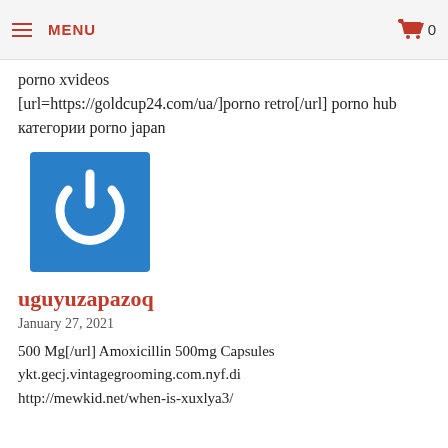MENU  0
porno xvideos
[url=https://goldcup24.com/ua/]porno retro[/url] porno hub категории porno japan
[Figure (logo): Blue square logo with white power button icon]
uguyuzapazoq
January 27, 2021
500 Mg[/url] Amoxicillin 500mg Capsules ykt.gecj.vintagegrooming.com.nyf.di http://mewkid.net/when-is-xuxlya3/